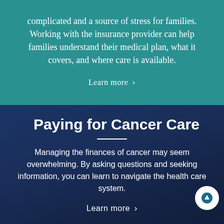complicated and a source of stress for families. Working with the insurance provider can help families understand their medical plan, what it covers, and where care is available.
Learn more ›
Paying for Cancer Care
Managing the finances of cancer may seem overwhelming. By asking questions and seeking information, you can learn to navigate the health care system.
Learn more ›